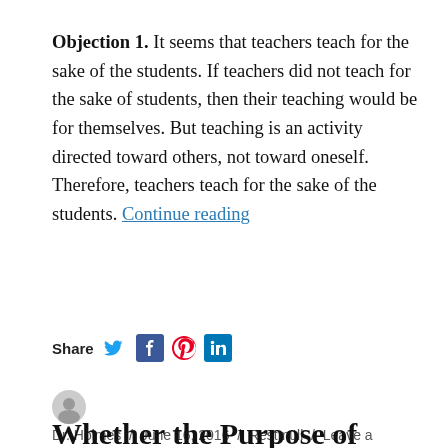Objection 1. It seems that teachers teach for the sake of the students. If teachers did not teach for the sake of students, then their teaching would be for themselves. But teaching is an activity directed toward others, not toward oneself. Therefore, teachers teach for the sake of the students. Continue reading
Share [Twitter] [Facebook] [Pinterest] [LinkedIn]
Dr. Holmes / June 16, 2016 / Restmüll / Leave a comment
Whether the Purpose of